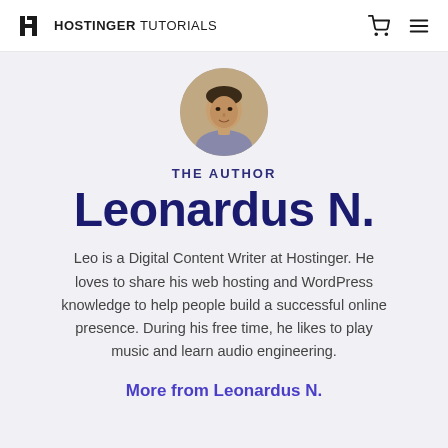HOSTINGER TUTORIALS
[Figure (photo): Circular profile photo of author Leonardus N.]
THE AUTHOR
Leonardus N.
Leo is a Digital Content Writer at Hostinger. He loves to share his web hosting and WordPress knowledge to help people build a successful online presence. During his free time, he likes to play music and learn audio engineering.
More from Leonardus N.